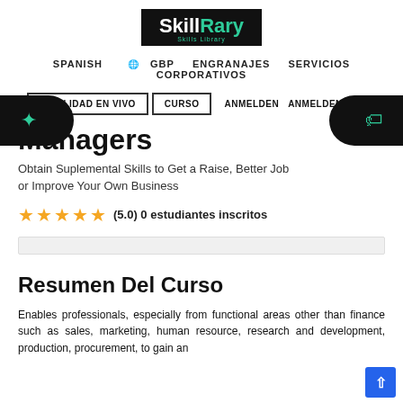[Figure (logo): SkillRary logo - black background with white 'Skill' and teal 'Rary' text, subtitle 'Skills Library']
SPANISH  🌐 GBP  ENGRANAJES  SERVICIOS  CORPORATIVOS
HABILIDAD EN VIVO  CURSO  ANMELDEN  ANMELDEN
Managers
Obtain Suplemental Skills to Get a Raise, Better Job or Improve Your Own Business
(5.0) 0 estudiantes inscritos
Resumen Del Curso
Enables professionals, especially from functional areas other than finance such as sales, marketing, human resource, research and development, production, procurement, to gain an